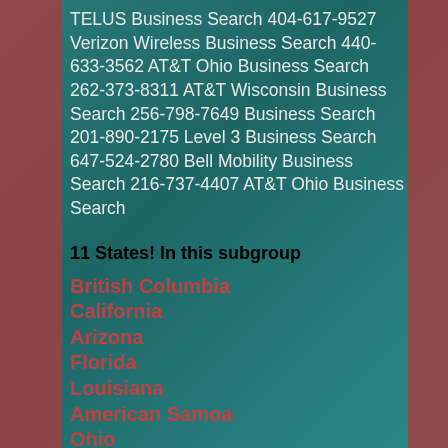TELUS Business Search 404-617-9527 Verizon Wireless Business Search 440-633-3562 AT&T Ohio Business Search 262-373-8311 AT&T Wisconsin Business Search 256-798-7649 Business Search 201-890-2175 Level 3 Business Search 647-524-2780 Bell Mobility Business Search 216-737-4407 AT&T Ohio Business Search
11 States! In this subgroup
British Columbia
California
Arizona
Florida
Louisiana
American Samoa
Ohio
South Dakota
New Hampshire